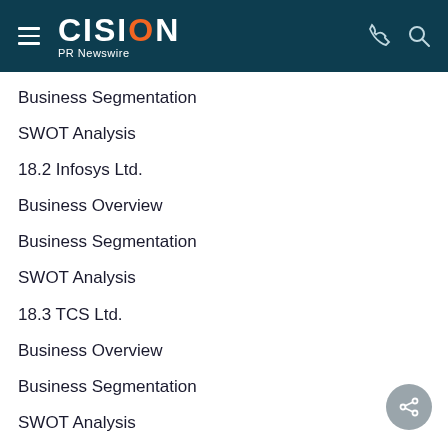CISION PR Newswire
Business Segmentation
SWOT Analysis
18.2 Infosys Ltd.
Business Overview
Business Segmentation
SWOT Analysis
18.3 TCS Ltd.
Business Overview
Business Segmentation
SWOT Analysis
18.4 Wipro Ltd.
Business Overview
Business Segmentation
SWOT Analysis